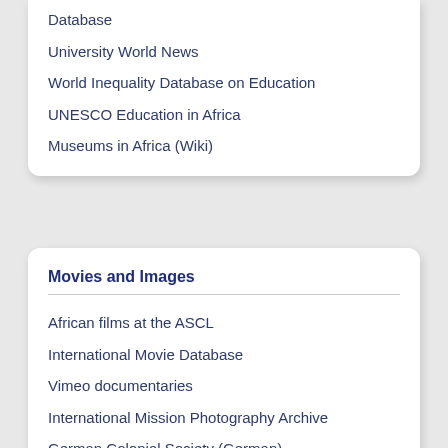Database
University World News
World Inequality Database on Education
UNESCO Education in Africa
Museums in Africa (Wiki)
Movies and Images
African films at the ASCL
International Movie Database
Vimeo documentaries
International Mission Photography Archive
German Colonial Society (German)
Royal Museum for Central Africa